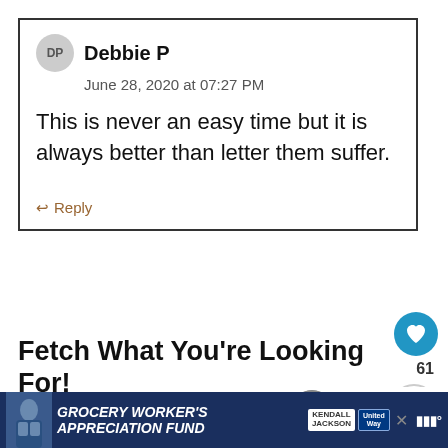DP  Debbie P
June 28, 2020 at 07:27 PM

This is never an easy time but it is always better than letter them suffer.

↩ Reply
[Figure (screenshot): Fetch What You're Looking For! search bar section with divider line]
[Figure (infographic): What's Next: Kitty Sniffles: How to Kno... thumbnail]
[Figure (infographic): Grocery Worker's Appreciation Fund advertisement banner with Kendall-Jackson and United Way logos]